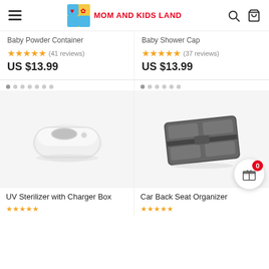MOM AND KIDS LAND
Baby Powder Container
★★★★★ (41 reviews)
US $13.99
Baby Shower Cap
★★★★★ (37 reviews)
US $13.99
[Figure (photo): UV Sterilizer with Charger Box - white oval-shaped UV sterilizer box]
UV Sterilizer with Charger Box
[Figure (photo): Car Back Seat Organizer - dark grey folding car seat organizer with pockets]
Car Back Seat Organizer